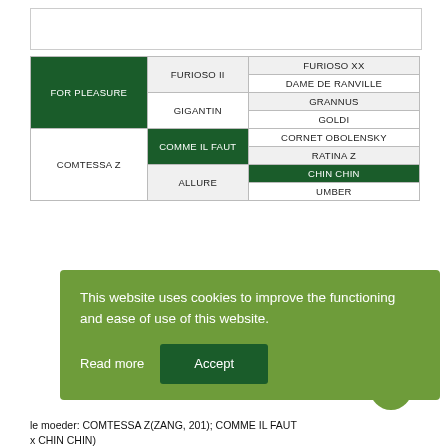| Generation 1 | Generation 2 | Generation 3 |
| --- | --- | --- |
| FOR PLEASURE | FURIOSO II | FURIOSO XX |
| FOR PLEASURE | FURIOSO II | DAME DE RANVILLE |
| FOR PLEASURE | GIGANTIN | GRANNUS |
| FOR PLEASURE | GIGANTIN | GOLDI |
| COMTESSA Z | COMME IL FAUT | CORNET OBOLENSKY |
| COMTESSA Z | COMME IL FAUT | RATINA Z |
| COMTESSA Z | ALLURE | CHIN CHIN |
| COMTESSA Z | ALLURE | UMBER |
This website uses cookies to improve the functioning and ease of use of this website.
le moeder: COMTESSA Z(ZANG, 201); COMME IL FAUT x CHIN CHIN)